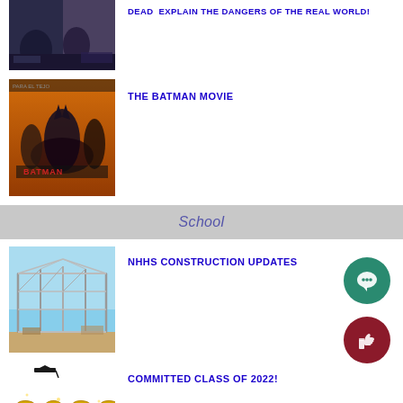[Figure (photo): Partially visible image at top, dark moody scene with figures]
DEAD EXPLAIN THE DANGERS OF THE REAL WORLD!
[Figure (photo): The Batman movie poster showing Batman and other characters on orange background]
THE BATMAN MOVIE
School
[Figure (photo): NHHS construction site showing steel frame building structure under blue sky]
NHHS CONSTRUCTION UPDATES
[Figure (photo): Gold glittery 2022 numbers with graduation cap for class of 2022]
COMMITTED CLASS OF 2022!